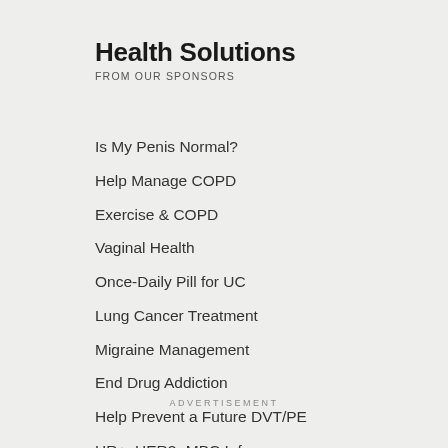Health Solutions
FROM OUR SPONSORS
Is My Penis Normal?
Help Manage COPD
Exercise & COPD
Vaginal Health
Once-Daily Pill for UC
Lung Cancer Treatment
Migraine Management
End Drug Addiction
Help Prevent a Future DVT/PE
HR+, HER2- MBC Info
ADVERTISEMENT